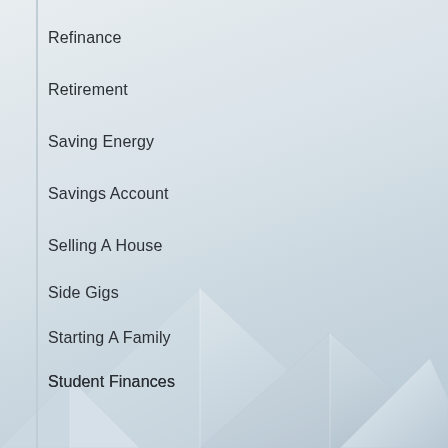Refinance
Retirement
Saving Energy
Savings Account
Selling A House
Side Gigs
Starting A Family
Student Finances
Student Loans
Taxes
Temporary Warehouse Structures
Tensile Tent Buildings
[Figure (illustration): Background illustration of white tensile tent / warehouse structures at the bottom of the page against a light grey-blue gradient background]